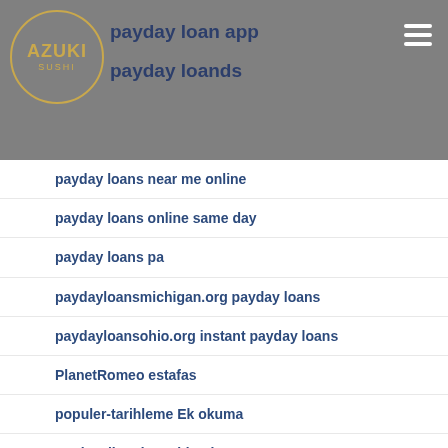payday loan app | payday loands
[Figure (logo): Azuki Sushi circular logo with gold border]
payday loans near me online
payday loans online same day
payday loans pa
paydayloansmichigan.org payday loans
paydayloansohio.org instant payday loans
PlanetRomeo estafas
populer-tarihleme Ek okuma
Real Mail Order Bride Sites
Registry Dll
Romance tele profili